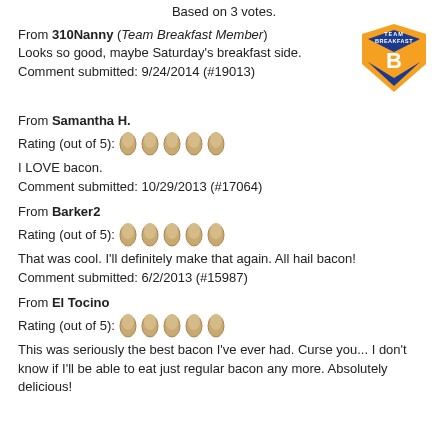Based on 3 votes.
From 310Nanny (Team Breakfast Member)
Looks so good, maybe Saturday's breakfast side.
Comment submitted: 9/24/2014 (#19013)
[Figure (logo): Team Breakfast badge logo - orange and blue shield with letter B]
From Samantha H.
Rating (out of 5): 5 eggs
I LOVE bacon.
Comment submitted: 10/29/2013 (#17064)
From Barker2
Rating (out of 5): 5 eggs
That was cool. I'll definitely make that again. All hail bacon!
Comment submitted: 6/2/2013 (#15987)
From El Tocino
Rating (out of 5): 5 eggs
This was seriously the best bacon I've ever had. Curse you... I don't know if I'll be able to eat just regular bacon any more. Absolutely delicious!